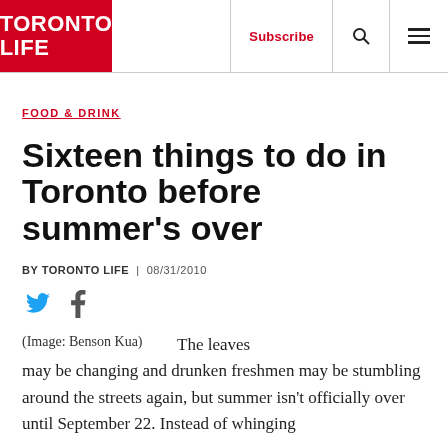TORONTO LIFE | Subscribe | [search icon] | [menu icon]
FOOD & DRINK
Sixteen things to do in Toronto before summer's over
BY TORONTO LIFE | 08/31/2010
[Figure (other): Twitter and Facebook social share icons]
(Image: Benson Kua)    The leaves may be changing and drunken freshmen may be stumbling around the streets again, but summer isn't officially over until September 22. Instead of whinging